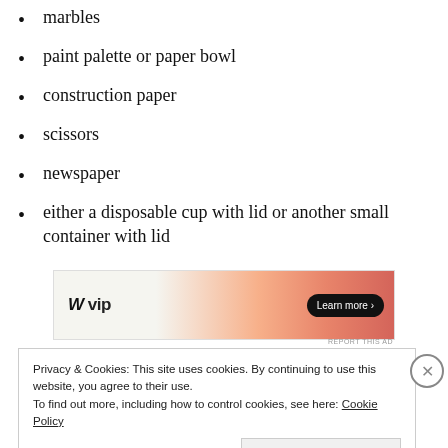marbles
paint palette or paper bowl
construction paper
scissors
newspaper
either a disposable cup with lid or another small container with lid
[Figure (other): Advertisement banner for 'W VIP' service with orange/salmon gradient background and a 'Learn more' button]
Privacy & Cookies: This site uses cookies. By continuing to use this website, you agree to their use.
To find out more, including how to control cookies, see here: Cookie Policy
Close and accept